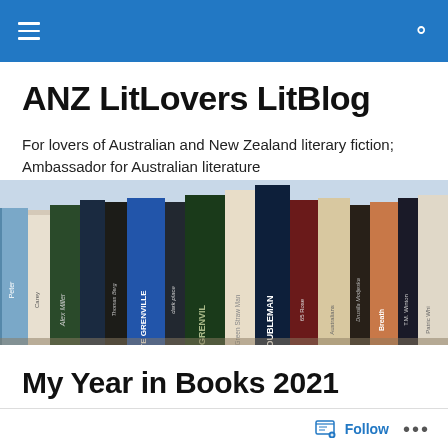ANZ LitLovers LitBlog – navigation bar
ANZ LitLovers LitBlog
For lovers of Australian and New Zealand literary fiction; Ambassador for Australian literature
[Figure (photo): A row of books standing upright on a shelf, showing spines of various Australian literary works including titles by Peter Carey, Alex Miller, Kate Grenville, and others.]
My Year in Books 2021
Follow  •••